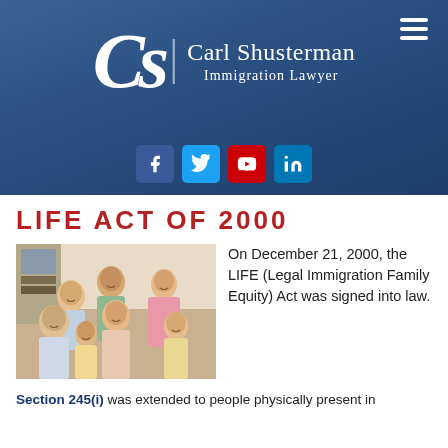[Figure (logo): Carl Shusterman Immigration Lawyer logo with stylized CS monogram on blue gradient background]
[Figure (infographic): Social media icons: Facebook, Twitter, YouTube, LinkedIn on blue gradient background]
LIFE ACT OF 2000
[Figure (photo): Family photo showing multi-generational smiling family group of six people]
On December 21, 2000, the LIFE (Legal Immigration Family Equity) Act was signed into law.
Section 245(i) was extended to people physically present in